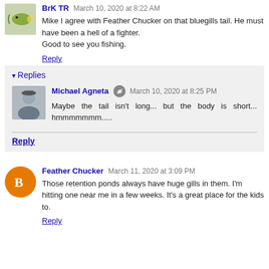BrK TR  March 10, 2020 at 8:22 AM
Mike I agree with Feather Chucker on that bluegills tail. He must have been a hell of a fighter.
Good to see you fishing.
Reply
▾ Replies
Michael Agneta  March 10, 2020 at 8:25 PM
Maybe the tail isn't long... but the body is short... hmmmmmmm.....
Reply
Feather Chucker  March 11, 2020 at 3:09 PM
Those retention ponds always have huge gills in them. I'm hitting one near me in a few weeks. It's a great place for the kids to.
Reply